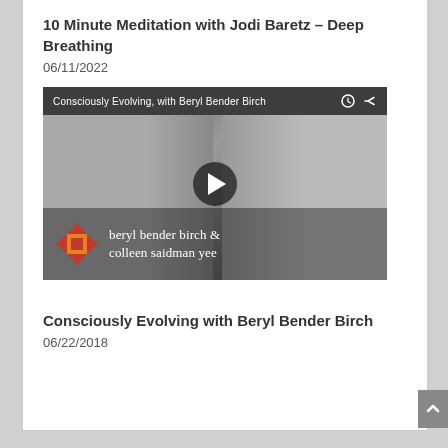10 Minute Meditation with Jodi Baretz – Deep Breathing
06/11/2022
[Figure (screenshot): Video thumbnail for 'Consciously Evolving, with Beryl Bender Birch' showing two women in grayscale with a play button overlay and logo with text 'beryl bender birch & colleen saidman yee']
Consciously Evolving with Beryl Bender Birch
06/22/2018